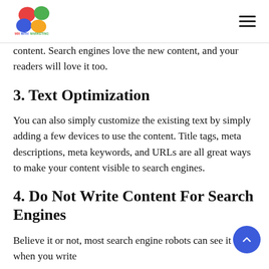MixWithMarketing logo and navigation
content. Search engines love the new content, and your readers will love it too.
3. Text Optimization
You can also simply customize the existing text by simply adding a few devices to use the content. Title tags, meta descriptions, meta keywords, and URLs are all great ways to make your content visible to search engines.
4. Do Not Write Content For Search Engines
Believe it or not, most search engine robots can see it when you write content specifically for search engines.